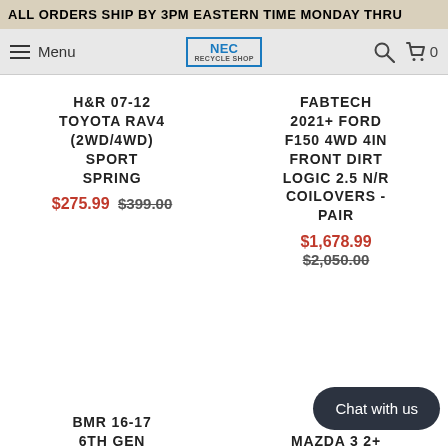ALL ORDERS SHIP BY 3PM EASTERN TIME MONDAY THRU
Menu | NEC RECYCLE SHOP | 0
H&R 07-12 TOYOTA RAV4 (2WD/4WD) SPORT SPRING
$275.99 $399.00
FABTECH 2021+ FORD F150 4WD 4IN FRONT DIRT LOGIC 2.5 N/R COILOVERS - PAIR
$1,678.99 $2,050.00
BMR 16-17 6TH GEN CAMARO REAR SWAY
AFR... MAZDA 3 2+... 2.0L/2.5L/2.5L
Chat with us